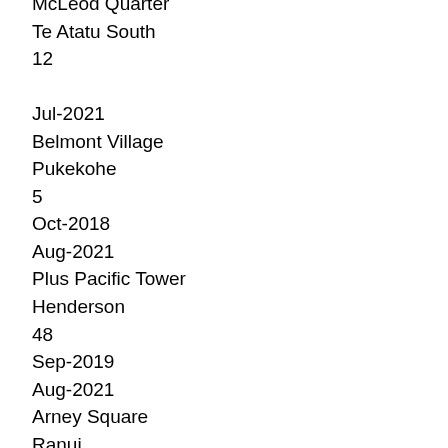McLeod Quarter
Te Atatu South
12
Jul-2021
Belmont Village
Pukekohe
5
Oct-2018
Aug-2021
Plus Pacific Tower
Henderson
48
Sep-2019
Aug-2021
Arney Square
Ranui
11
Jul-2020